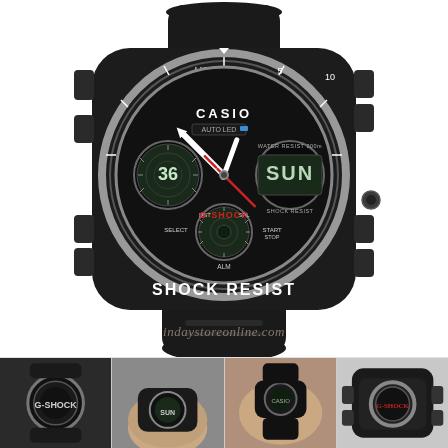[Figure (photo): Casio G-Shock analog-digital wristwatch with black rubber band and silver bezel. Display shows '36' on left subdial and 'SUN' on right digital display. Text 'SHOCK RESIST' on lower bezel. Buttons labeled ADJUST, MODE on left side; REVERSE, FORWARD on right side. Red and white hands visible. G-SHOCK and CASIO branding on face. Watermark text 'indaystoreonline.com' overlaid on image.]
[Figure (photo): Four thumbnail photos showing the Casio G-Shock watch from different angles: front view, wrist wear view, wrist side view, and close-up detail view.]